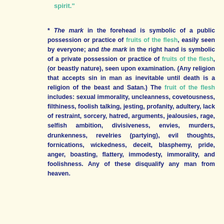spirit."
* The mark in the forehead is symbolic of a public possession or practice of fruits of the flesh, easily seen by everyone; and the mark in the right hand is symbolic of a private possession or practice of fruits of the flesh, (or beastly nature), seen upon examination. (Any religion that accepts sin in man as inevitable until death is a religion of the beast and Satan.) The fruit of the flesh includes: sexual immorality, uncleanness, covetousness, filthiness, foolish talking, jesting, profanity, adultery, lack of restraint, sorcery, hatred, arguments, jealousies, rage, selfish ambition, divisiveness, envies, murders, drunkenness, revelries (partying), evil thoughts, fornications, wickedness, deceit, blasphemy, pride, anger, boasting, flattery, immodesty, immorality, and foolishness. Any of these disqualify any man from heaven.